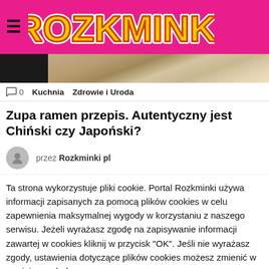ROZKMINKI
[Figure (photo): Partial photo of Japanese/Asian food items on a bamboo mat with a bowl, cropped strip visible]
0  Kuchnia  Zdrowie i Uroda
Zupa ramen przepis. Autentyczny jest Chiński czy Japoński?
przez Rozkminki pl
Ta strona wykorzystuje pliki cookie. Portal Rozkminki używa informacji zapisanych za pomocą plików cookies w celu zapewnienia maksymalnej wygody w korzystaniu z naszego serwisu. Jeżeli wyrażasz zgodę na zapisywanie informacji zawartej w cookies kliknij w przycisk "OK". Jeśli nie wyrażasz zgody, ustawienia dotyczące plików cookies możesz zmienić w swojej przeglądarce.
OK